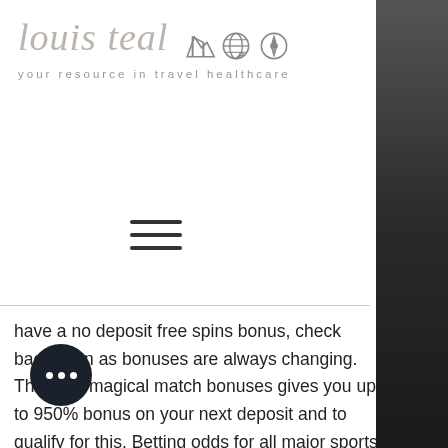[Figure (logo): Louis Teal travel healthcare logo with script text, travel icons (map, globe, compass), and tagline 'your resource in travel healthcare']
have a no deposit free spins bonus, check back soon as bonuses are always changing. The euro magical match bonuses gives you up to 950% bonus on your next deposit and to qualify for this. Betting odds for all major sports betting events, horse races, greyhounds and more. Bet online now with the latest odds at coral. $240 no deposit bonus · $25 no deposit bonus · 850% sign up bonus. On this page you can find a great no deposit bonus casino offering free cash for new sign-ups, no matter whether you are playing in. Eurobets casino has been placed warning list due to slow payouts, delays or no payments at all and non-